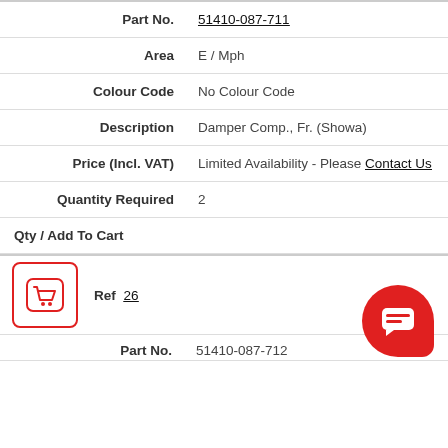| Field | Value |
| --- | --- |
| Part No. | 51410-087-711 |
| Area | E / Mph |
| Colour Code | No Colour Code |
| Description | Damper Comp., Fr. (Showa) |
| Price (Incl. VAT) | Limited Availability - Please Contact Us |
| Quantity Required | 2 |
| Qty / Add To Cart |  |
| Ref | 26 |
Part No. 51410-087-712